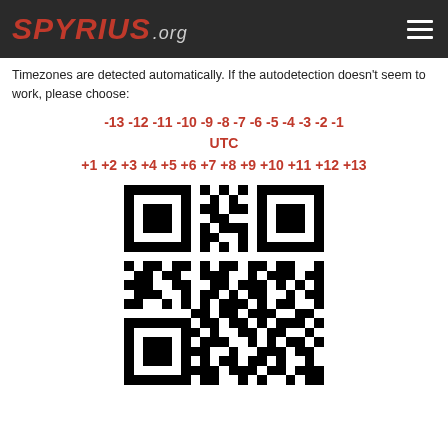SPYRIUS.org
Timezones are detected automatically. If the autodetection doesn't seem to work, please choose:
-13 -12 -11 -10 -9 -8 -7 -6 -5 -4 -3 -2 -1 UTC +1 +2 +3 +4 +5 +6 +7 +8 +9 +10 +11 +12 +13
[Figure (other): QR code image]